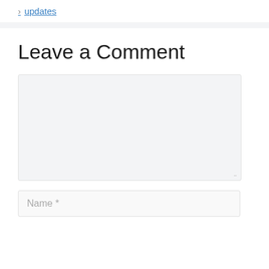> updates
Leave a Comment
[Comment text area]
Name *